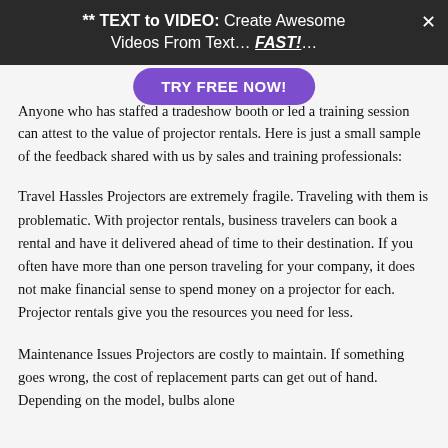[Figure (screenshot): Dark banner overlay with text '** TEXT to VIDEO: Create Awesome Videos From Text... FAST!...' and a purple 'TRY FREE NOW!' button and a close X button]
Anyone who has staffed a tradeshow booth or led a training session can [attest to the value] of projector rentals. Here is just a small sample of the feedback shared with us by sales and training professionals:
Travel Hassles Projectors are extremely fragile. Traveling with them is problematic. With projector rentals, business travelers can book a rental and have it delivered ahead of time to their destination. If you often have more than one person traveling for your company, it does not make financial sense to spend money on a projector for each. Projector rentals give you the resources you need for less.
Maintenance Issues Projectors are costly to maintain. If something goes wrong, the cost of replacement parts can get out of hand. Depending on the model, bulbs alone